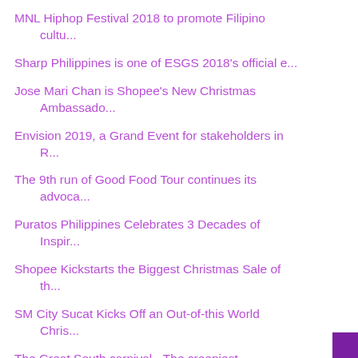MNL Hiphop Festival 2018 to promote Filipino cultu...
Sharp Philippines is one of ESGS 2018's official e...
Jose Mari Chan is Shopee's New Christmas Ambassado...
Envision 2019, a Grand Event for stakeholders in R...
The 9th run of Good Food Tour continues its advoca...
Puratos Philippines Celebrates 3 Decades of Inspir...
Shopee Kickstarts the Biggest Christmas Sale of th...
SM City Sucat Kicks Off an Out-of-this World Chris...
The Great South carnival - The creepiest adventure...
Narada partners with IEZ Global and Dios Enterpris...
Devant launches its Quantum UHD TV in the most col...